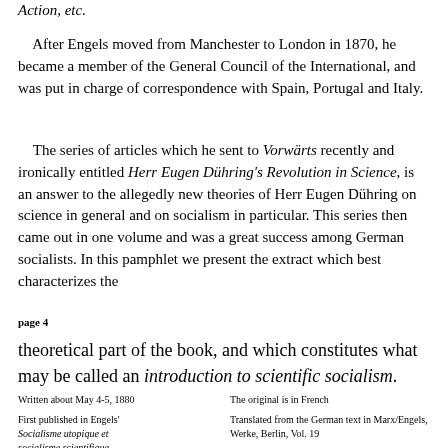Action, etc.
After Engels moved from Manchester to London in 1870, he became a member of the General Council of the International, and was put in charge of correspondence with Spain, Portugal and Italy.
The series of articles which he sent to Vorwärts recently and ironically entitled Herr Eugen Dühring's Revolution in Science, is an answer to the allegedly new theories of Herr Eugen Dühring on science in general and on socialism in particular. This series then came out in one volume and was a great success among German socialists. In this pamphlet we present the extract which best characterizes the
page 4
theoretical part of the book, and which constitutes what may be called an introduction to scientific socialism.
Written about May 4-5, 1880
First published in Engels' Socialisme utopique et socialisme scientifique, Paris, 1880
The original is in French
Translated from the German text in Marx/Engels, Werke, Berlin, Vol. 19
Checked against the foreword as published by Lafargue